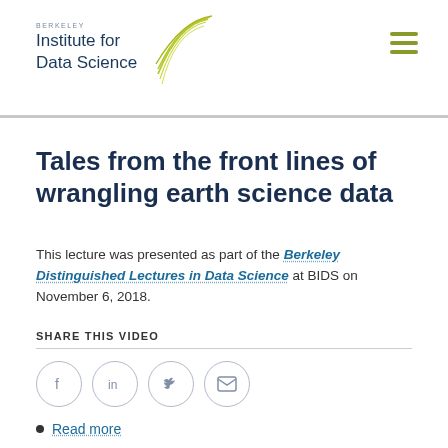BERKELEY Institute for Data Science
Tales from the front lines of wrangling earth science data
This lecture was presented as part of the Berkeley Distinguished Lectures in Data Science at BIDS on November 6, 2018.
SHARE THIS VIDEO
[Figure (other): Social sharing icons: Facebook, LinkedIn, Twitter, Email]
Read more